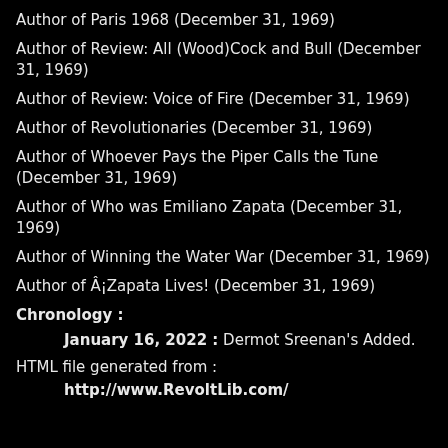Author of Paris 1968 (December 31, 1969)
Author of Review: All (Wood)Cock and Bull (December 31, 1969)
Author of Review: Voice of Fire (December 31, 1969)
Author of Revolutionaries (December 31, 1969)
Author of Whoever Pays the Piper Calls the Tune (December 31, 1969)
Author of Who was Emiliano Zapata (December 31, 1969)
Author of Winning the Water War (December 31, 1969)
Author of Â¡Zapata Lives! (December 31, 1969)
Chronology :
January 16, 2022 : Dermot Sreenan's Added.
HTML file generated from :
http://www.RevoltLib.com/